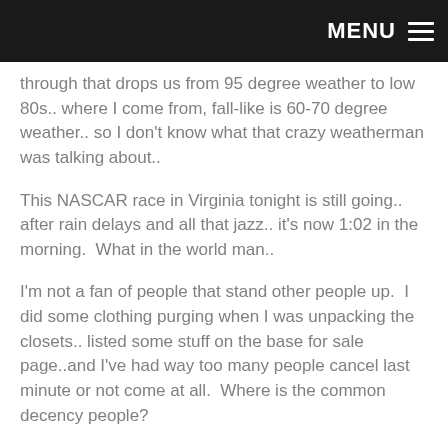MENU
through that drops us from 95 degree weather to low 80s.. where I come from, fall-like is 60-70 degree weather.. so I don't know what that crazy weatherman was talking about..
This NASCAR race in Virginia tonight is still going.. after rain delays and all that jazz.. it's now 1:02 in the morning.  What in the world man..
I'm not a fan of people that stand other people up.  I did some clothing purging when I was unpacking the closets.. listed some stuff on the base for sale page..and I've had way too many people cancel last minute or not come at all.  Where is the common decency people?